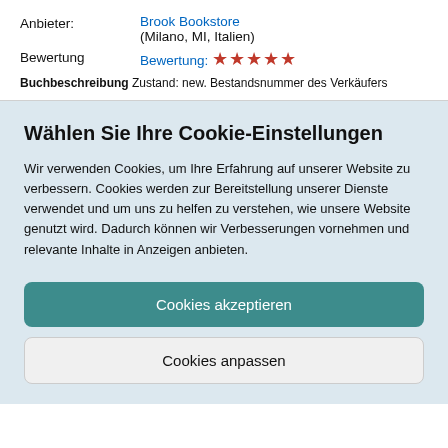Anbieter: Brook Bookstore (Milano, MI, Italien)
Bewertung  Bewertung: ★★★★★
Buchbeschreibung Zustand: new. Bestandsnummer des Verkäufers
Wählen Sie Ihre Cookie-Einstellungen
Wir verwenden Cookies, um Ihre Erfahrung auf unserer Website zu verbessern. Cookies werden zur Bereitstellung unserer Dienste verwendet und um uns zu helfen zu verstehen, wie unsere Website genutzt wird. Dadurch können wir Verbesserungen vornehmen und relevante Inhalte in Anzeigen anbieten.
Cookies akzeptieren
Cookies anpassen